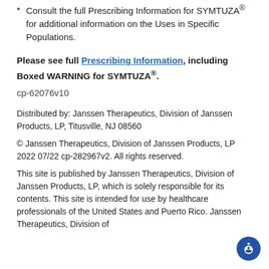Consult the full Prescribing Information for SYMTUZA® for additional information on the Uses in Specific Populations.
Please see full Prescribing Information, including Boxed WARNING for SYMTUZA®.
cp-62076v10
Distributed by: Janssen Therapeutics, Division of Janssen Products, LP, Titusville, NJ 08560
© Janssen Therapeutics, Division of Janssen Products, LP 2022 07/22 cp-282967v2. All rights reserved.
This site is published by Janssen Therapeutics, Division of Janssen Products, LP, which is solely responsible for its contents. This site is intended for use by healthcare professionals of the United States and Puerto Rico. Janssen Therapeutics, Division of